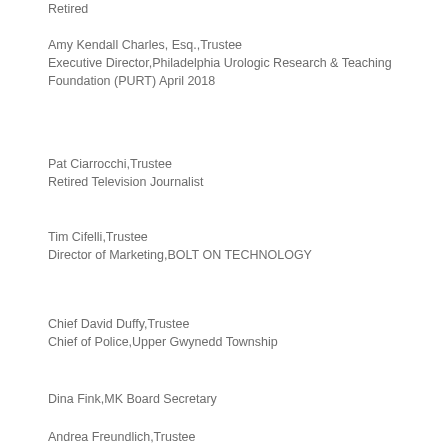Retired
Amy Kendall Charles, Esq.,Trustee
Executive Director,Philadelphia Urologic Research & Teaching Foundation (PURT) April 2018
Pat Ciarrocchi,Trustee
Retired Television Journalist
Tim Cifelli,Trustee
Director of Marketing,BOLT ON TECHNOLOGY
Chief David Duffy,Trustee
Chief of Police,Upper Gwynedd Township
Dina Fink,MK Board Secretary
Andrea Freundlich,Trustee